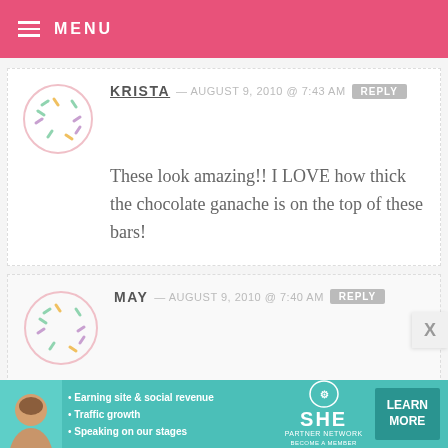MENU
KRISTA — AUGUST 9, 2010 @ 7:43 AM  REPLY
These look amazing!! I LOVE how thick the chocolate ganache is on the top of these bars!
MAY — AUGUST 9, 2010 @ 7:40 AM  REPLY
OMG!! if only i saw this before i made my lemon cheesecake!!!! now i wanna make another cheesecake!! but its all
[Figure (infographic): SHE Partner Network advertisement banner with photo of woman, bullet points about Earning site & social revenue, Traffic growth, Speaking on our stages, and a LEARN MORE button]